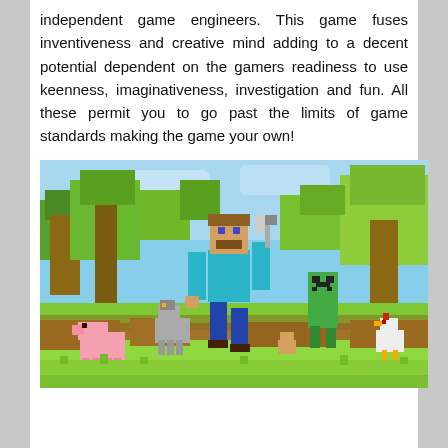independent game engineers. This game fuses inventiveness and creative mind adding to a decent potential dependent on the gamers readiness to use keenness, imaginativeness, investigation and fun. All these permit you to go past the limits of game standards making the game your own!
[Figure (photo): Minecraft promotional image showing Steve character walking with various animals including a wolf, pig, chicken, and creeper in a blocky green and brown landscape with trees and blue sky]